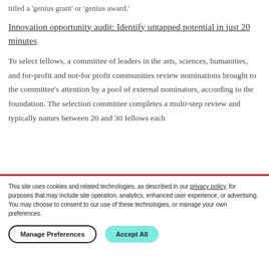titled a 'genius grant' or 'genius award.'
Innovation opportunity audit: Identify untapped potential in just 20 minutes
To select fellows, a committee of leaders in the arts, sciences, humanities, and for-profit and not-for profit communities review nominations brought to the committee's attention by a pool of external nominators, according to the foundation. The selection committee completes a multi-step review and typically names between 20 and 30 fellows each
This site uses cookies and related technologies, as described in our privacy policy, for purposes that may include site operation, analytics, enhanced user experience, or advertising. You may choose to consent to our use of these technologies, or manage your own preferences.
Manage Preferences
Accept All